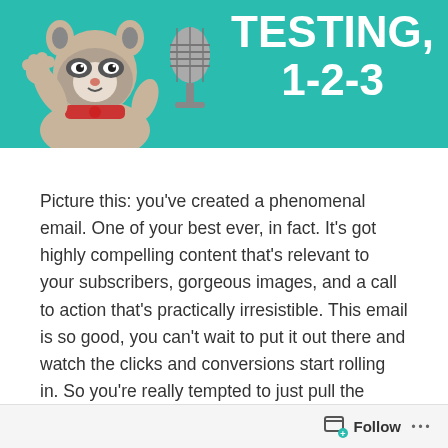[Figure (illustration): Banner with teal background showing a cartoon raccoon waving and a vintage microphone, with white bold text reading 'TESTING, 1-2-3']
Picture this: you've created a phenomenal email. One of your best ever, in fact. It's got highly compelling content that's relevant to your subscribers, gorgeous images, and a call to action that's practically irresistible. This email is so good, you can't wait to put it out there and watch the clicks and conversions start rolling in. So you're really tempted to just pull the trigger and skip the whole testing phase. After all, you know your email is practically perfect.
What could possibly go wrong?
Well, an awful lot could go wrong. Come on, admit it: in